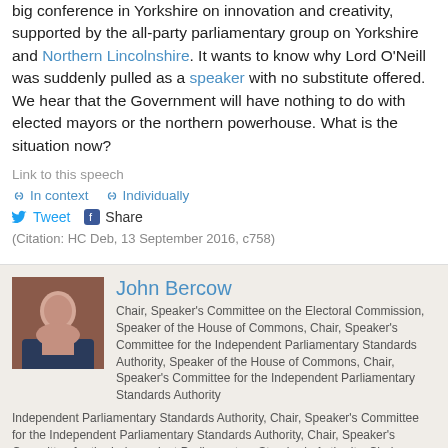big conference in Yorkshire on innovation and creativity, supported by the all-party parliamentary group on Yorkshire and Northern Lincolnshire. It wants to know why Lord O'Neill was suddenly pulled as a speaker with no substitute offered. We hear that the Government will have nothing to do with elected mayors or the northern powerhouse. What is the situation now?
Link to this speech
In context  Individually
Tweet  Share
(Citation: HC Deb, 13 September 2016, c758)
John Bercow
Chair, Speaker's Committee on the Electoral Commission, Speaker of the House of Commons, Chair, Speaker's Committee for the Independent Parliamentary Standards Authority, Speaker of the House of Commons, Chair, Speaker's Committee for the Independent Parliamentary Standards Authority, Chair, Speaker's Committee for the Independent Parliamentary Standards Authority, Chair, Speaker's Committee for the Independent Parliamentary Standards Authority, Chair, Speaker's Committee on the Electoral Commission
In relation to laser pens, rather than the speaking engagements or otherwise of Lord O'Neill.